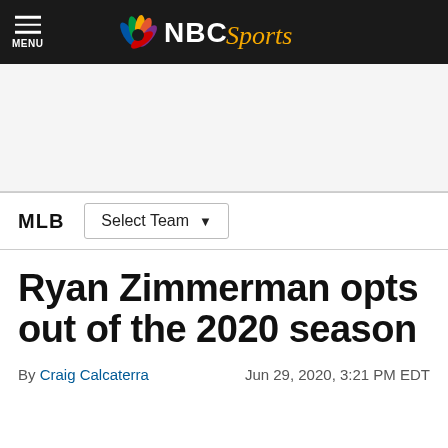NBC Sports
[Figure (other): Advertisement placeholder area]
MLB
Ryan Zimmerman opts out of the 2020 season
By Craig Calcaterra   Jun 29, 2020, 3:21 PM EDT